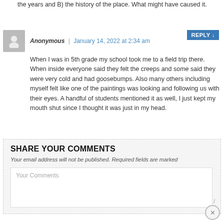the years and B) the history of the place. What might have caused it.
Anonymous | January 14, 2022 at 2:34 am
When I was in 5th grade my school took me to a field trip there. When inside everyone said they felt the creeps and some said they were very cold and had goosebumps. Also many others including myself felt like one of the paintings was looking and following us with their eyes. A handful of students mentioned it as well, I just kept my mouth shut since I thought it was just in my head.
SHARE YOUR COMMENTS
Your email address will not be published. Required fields are marked
Your Comments